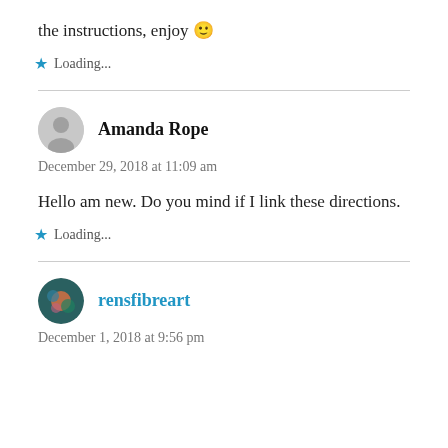the instructions, enjoy 🙂
Loading...
Amanda Rope
December 29, 2018 at 11:09 am
Hello am new. Do you mind if I link these directions.
Loading...
rensfibreart
December 1, 2018 at 9:56 pm